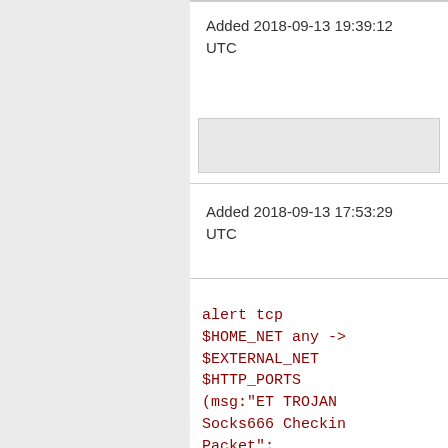Added 2018-09-13 19:39:12 UTC
Added 2018-09-13 17:53:29 UTC
alert tcp $HOME_NET any -> $EXTERNAL_NET $HTTP_PORTS (msg:"ET TROJAN Socks666 Checkin Packet"; flow:established,to_serve dsize:30; content:"|9a 02 01